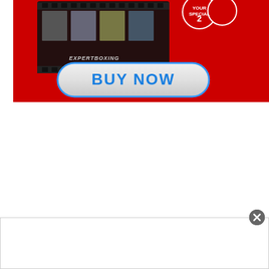[Figure (screenshot): ExpertBoxing advertisement banner with red background. Shows a black DVD/video box product with film strip imagery featuring boxing scenes and 'EXPERTBOXING' text. Two circular red badge icons visible top right. Below the product is a large rounded rectangular 'BUY NOW' button with blue text on a light grey/white gradient background with blue border.]
[Figure (screenshot): White/blank advertisement box at bottom of page with a dark circular close button (X) in the top right corner. The ad area appears mostly empty/white with a light grey border.]